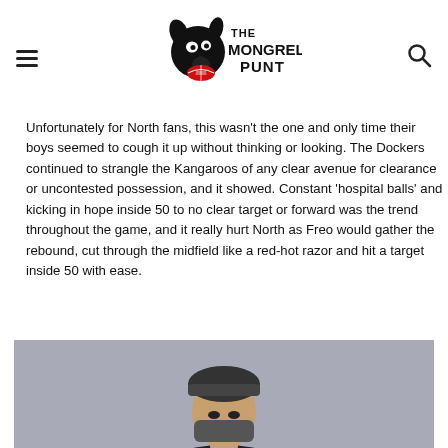[Figure (logo): The Mongrel Punt logo — dog holding a football with text 'THE MONGREL PUNT']
Unfortunately for North fans, this wasn't the one and only time their boys seemed to cough it up without thinking or looking. The Dockers continued to strangle the Kangaroos of any clear avenue for clearance or uncontested possession, and it showed. Constant 'hospital balls' and kicking in hope inside 50 to no clear target or forward was the trend throughout the game, and it really hurt North as Freo would gather the rebound, cut through the midfield like a red-hot razor and hit a target inside 50 with ease.
[Figure (photo): Photo of a person from the shoulders up, wearing a beanie/cap, face partially obscured, grey/blue background]